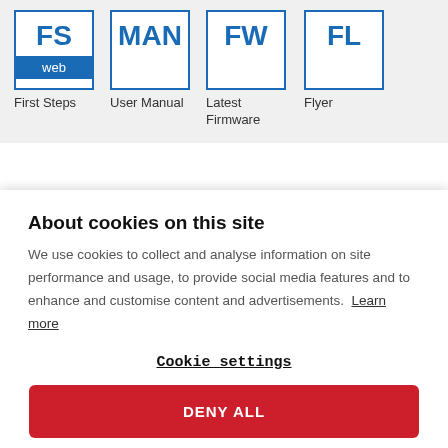[Figure (screenshot): Navigation icons row: FS (web) - First Steps, MAN - User Manual, FW - Latest Firmware, FL - Flyer]
About cookies on this site
We use cookies to collect and analyse information on site performance and usage, to provide social media features and to enhance and customise content and advertisements. Learn more
Cookie settings
DENY ALL
ALLOW ALL COOKIES